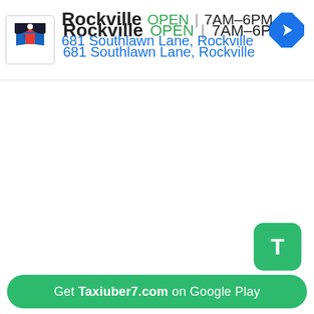[Figure (screenshot): Business listing card showing Rockville location with logo, open status, hours, and address]
Rockville  OPEN | 7AM–6PM
681 Southlawn Lane, Rockville
[Figure (logo): Green T button icon]
Get Taxiuber7.com on Google Play